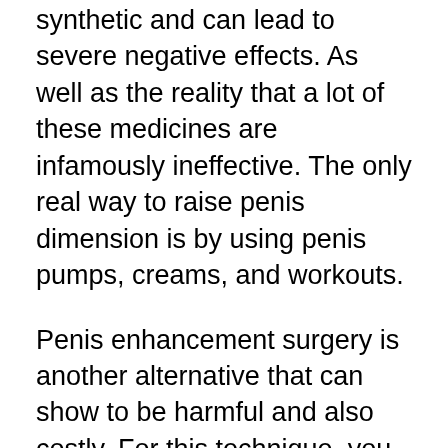synthetic and can lead to severe negative effects. As well as the reality that a lot of these medicines are infamously ineffective. The only real way to raise penis dimension is by using penis pumps, creams, and workouts.
Penis enhancement surgery is another alternative that can show to be harmful and also costly. For this technique, you should enter into your doctor's office and also obtain the tools they require to operatively get rid of a certain patch of skin from your penis. As soon as the spot is eliminated, your penis will end up being flaccid. Your erectile tissue will certainly be totally extended, if you do this, which implies there is definitely no nerve endings left to get feeling. This